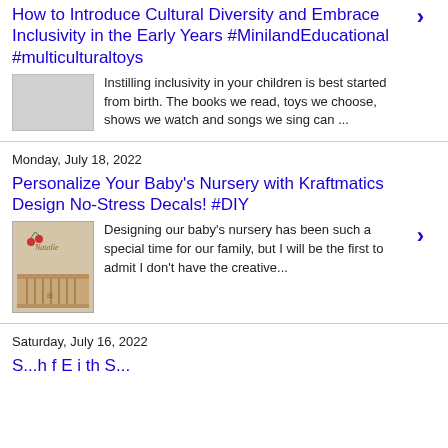How to Introduce Cultural Diversity and Embrace Inclusivity in the Early Years #MinilandEducational #multiculturaltoys
Instilling inclusivity in your children is best started from birth. The books we read, toys we choose, shows we watch and songs we sing can ...
Monday, July 18, 2022
Personalize Your Baby's Nursery with Kraftmatics Design No-Stress Decals! #DIY
Designing our baby's nursery has been such a special time for our family, but I will be the first to admit I don't have the creative...
Saturday, July 16, 2022